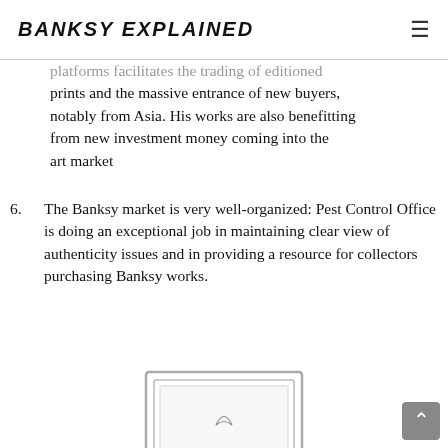BANKSY EXPLAINED
platforms facilitates the trading of editioned prints and the massive entrance of new buyers, notably from Asia. His works are also benefitting from new investment money coming into the art market
6. The Banksy market is very well-organized: Pest Control Office is doing an exceptional job in maintaining clear view of authenticity issues and in providing a resource for collectors purchasing Banksy works.
[Figure (illustration): Partial view of a framed Banksy artwork illustration at the bottom of the page]